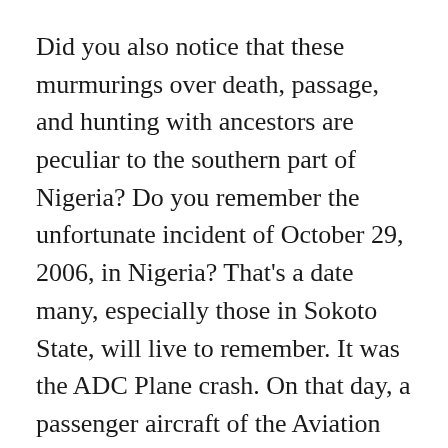Did you also notice that these murmurings over death, passage, and hunting with ancestors are peculiar to the southern part of Nigeria? Do you remember the unfortunate incident of October 29, 2006, in Nigeria? That's a date many, especially those in Sokoto State, will live to remember. It was the ADC Plane crash. On that day, a passenger aircraft of the Aviation Development Company (ADC) took off from the Nnamdi Azikiwe International Airport, Abuja, with Sokoto as its destination.
Onboard the ill-fated aircraft was the then Sultan of Sokoto Muhammadu Maccido, the Deputy Governor of Sokoto State, Garba...